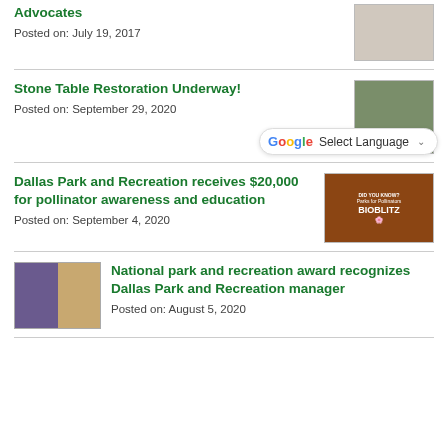Advocates
Posted on: July 19, 2017
Stone Table Restoration Underway!
Posted on: September 29, 2020
Dallas Park and Recreation receives $20,000 for pollinator awareness and education
Posted on: September 4, 2020
National park and recreation award recognizes Dallas Park and Recreation manager
Posted on: August 5, 2020